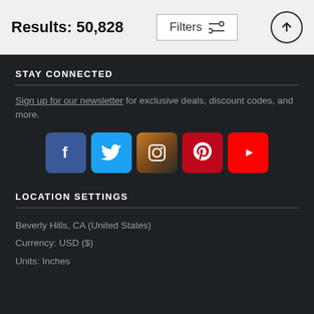Results: 50,828
Filters
STAY CONNECTED
Sign up for our newsletter for exclusive deals, discount codes, and more.
[Figure (illustration): Row of social media icons: Facebook (blue), Twitter (light blue), Instagram (gradient brown/dark), Pinterest (red), YouTube (red with play button)]
LOCATION SETTINGS
Beverly Hills, CA (United States)
Currency: USD ($)
Units: Inches
Copyright © 2022 Fine Art America - All Rights Reserved